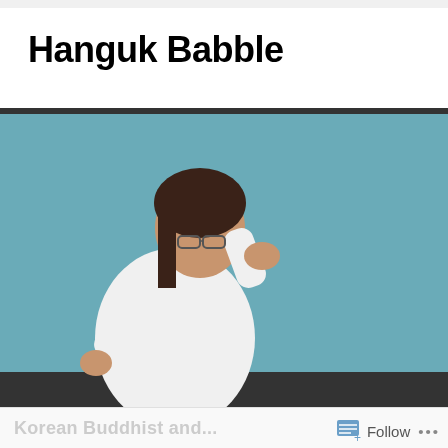Hanguk Babble
[Figure (photo): A woman in a white martial arts uniform standing in a fighting stance against a teal background, with navigation bar below showing Home, About, Bookshelf, Flashcards, Hanja, Not Learning]
Korean Buddhist and ...
Follow ...